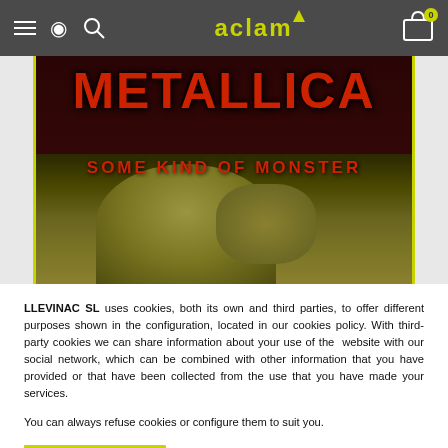aclam
[Figure (photo): Metallica 'Some Kind of Monster' album/documentary cover image showing a gargoyle-like monster figure with the band name and subtitle in red text on a dark background]
LLEVINAC SL uses cookies, both its own and third parties, to offer different purposes shown in the configuration, located in our cookies policy. With third-party cookies we can share information about your use of the  website with our social network, which can be combined with other information that you have provided or that have been collected from the use that you have made your services.
You can always refuse cookies or configure them to suit you.
Accept
All configure